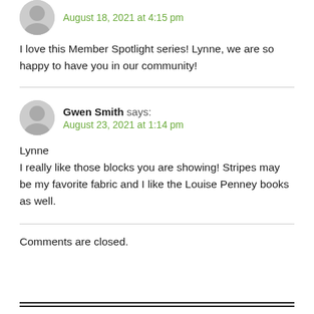August 18, 2021 at 4:15 pm
I love this Member Spotlight series! Lynne, we are so happy to have you in our community!
Gwen Smith says: August 23, 2021 at 1:14 pm
Lynne
I really like those blocks you are showing! Stripes may be my favorite fabric and I like the Louise Penney books as well.
Comments are closed.